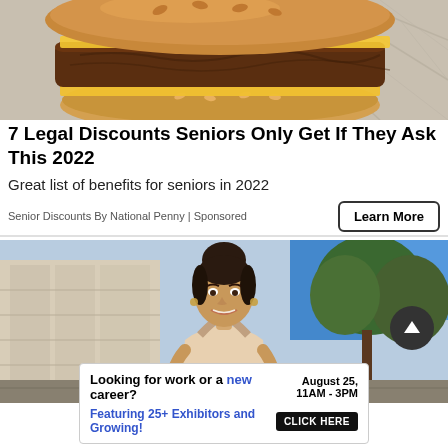[Figure (photo): Close-up photo of a double cheeseburger with melted cheese on a bun, placed on crinkled foil/paper]
7 Legal Discounts Seniors Only Get If They Ask This 2022
Great list of benefits for seniors in 2022
Senior Discounts By National Penny | Sponsored
Learn More
[Figure (photo): Photo of a young woman with dark hair in a bun, smiling, standing outdoors in front of a building and trees]
[Figure (infographic): Bottom banner advertisement: 'Looking for work or a new career? August 25, 11AM - 3PM. Featuring 25+ Exhibitors and Growing! CLICK HERE']